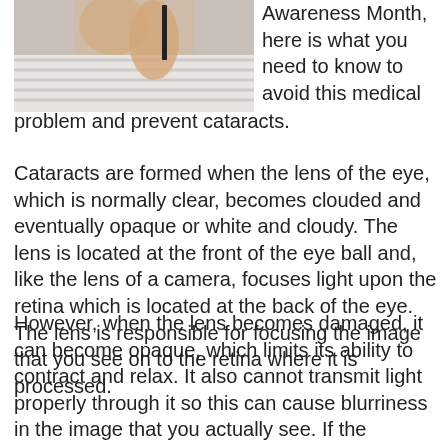[Figure (photo): A person holding a pen or pencil, wearing a striped shirt, partially cropped at top of page]
Awareness Month, here is what you need to know to avoid this medical problem and prevent cataracts.
Cataracts are formed when the lens of the eye, which is normally clear, becomes clouded and eventually opaque or white and cloudy. The lens is located at the front of the eye ball and, like the lens of a camera, focuses light upon the retina which is located at the back of the eye. The lens is responsible for focusing the image that you see on to the retina where it is processed.
However, when the lens becomes damaged, it can become opaque, which limits its ability to contract and relax. It also cannot transmit light properly through it so this can cause blurriness in the image that you actually see. If the condition progresses, this can lead to blindness...